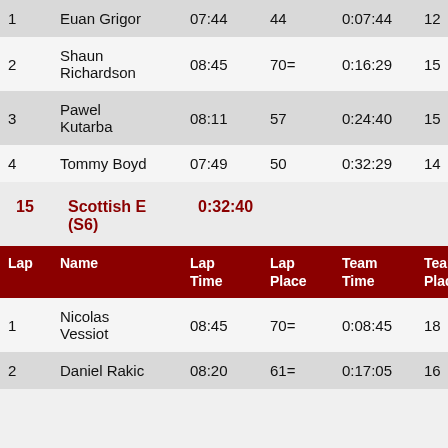| Lap | Name | Lap Time | Lap Place | Team Time | Team Place |
| --- | --- | --- | --- | --- | --- |
| 1 | Euan Grigor | 07:44 | 44 | 0:07:44 | 12 |
| 2 | Shaun Richardson | 08:45 | 70= | 0:16:29 | 15 |
| 3 | Pawel Kutarba | 08:11 | 57 | 0:24:40 | 15 |
| 4 | Tommy Boyd | 07:49 | 50 | 0:32:29 | 14 |
15   Scottish E (S6)   0:32:40
| Lap | Name | Lap Time | Lap Place | Team Time | Team Place |
| --- | --- | --- | --- | --- | --- |
| 1 | Nicolas Vessiot | 08:45 | 70= | 0:08:45 | 18 |
| 2 | Daniel Rakic | 08:20 | 61= | 0:17:05 | 16 |